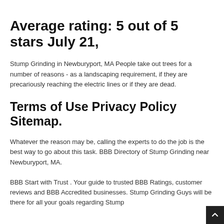Average rating: 5 out of 5 stars July 21,
Stump Grinding in Newburyport, MA People take out trees for a number of reasons - as a landscaping requirement, if they are precariously reaching the electric lines or if they are dead.
Terms of Use Privacy Policy Sitemap.
Whatever the reason may be, calling the experts to do the job is the best way to go about this task. BBB Directory of Stump Grinding near Newburyport, MA.
BBB Start with Trust . Your guide to trusted BBB Ratings, customer reviews and BBB Accredited businesses. Stump Grinding Guys will be there for all your goals regarding Stump